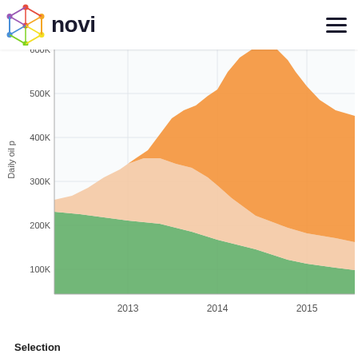novi
[Figure (area-chart): Stacked area chart showing daily oil production from 2013 to 2015 with three layers: green base, peach middle, orange top. Y-axis: 100K to 600K+. Blue area visible at top-right corner.]
Selection